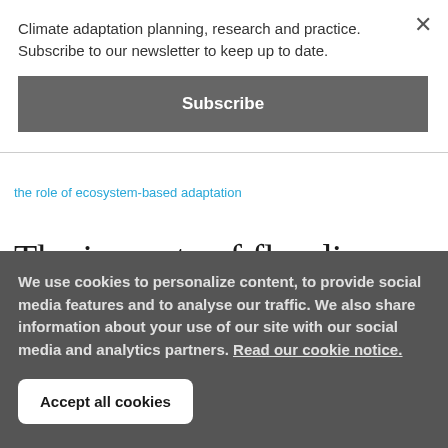Climate adaptation planning, research and practice. Subscribe to our newsletter to keep up to date.
Subscribe
the role of ecosystem-based adaptation
The impacts of flooding on well-being and the role of ecosystem-
We use cookies to personalize content, to provide social media features and to analyse our traffic. We also share information about your use of our site with our social media and analytics partners. Read our cookie notice.
Accept all cookies